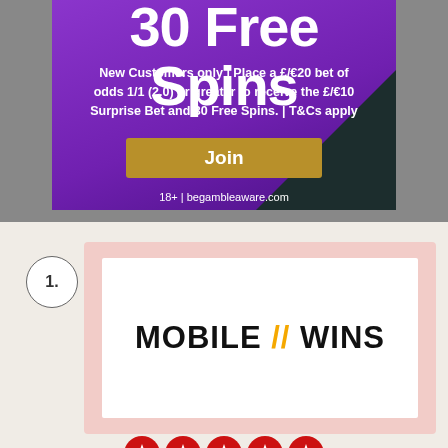[Figure (screenshot): Purple betting advertisement banner with '30 Free Spins' title, promotional text, gold Join button, and begambleaware.com footer]
New Customers only | Place a £/€20 bet of odds 1/1 (2.0) or greater to receive the £/€10 Surprise Bet and 30 Free Spins. | T&Cs apply
1.
[Figure (logo): MOBILE // WINS logo in black bold text with yellow double slash]
[Figure (infographic): Five red star rating circles]